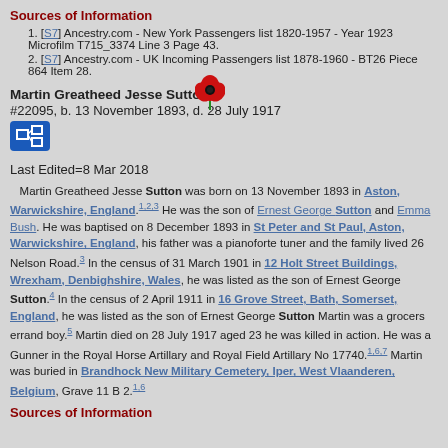Sources of Information
[S7] Ancestry.com - New York Passengers list 1820-1957 - Year 1923 Microfilm T715_3374 Line 3 Page 43.
[S7] Ancestry.com - UK Incoming Passengers list 1878-1960 - BT26 Piece 864 Item 28.
Martin Greatheed Jesse Sutton1
#22095, b. 13 November 1893, d. 28 July 1917
Last Edited=8 Mar 2018
Martin Greatheed Jesse Sutton was born on 13 November 1893 in Aston, Warwickshire, England.1,2,3 He was the son of Ernest George Sutton and Emma Bush. He was baptised on 8 December 1893 in St Peter and St Paul, Aston, Warwickshire, England, his father was a pianoforte tuner and the family lived 26 Nelson Road.3 In the census of 31 March 1901 in 12 Holt Street Buildings, Wrexham, Denbighshire, Wales, he was listed as the son of Ernest George Sutton.4 In the census of 2 April 1911 in 16 Grove Street, Bath, Somerset, England, he was listed as the son of Ernest George Sutton Martin was a grocers errand boy.5 Martin died on 28 July 1917 aged 23 he was killed in action. He was a Gunner in the Royal Horse Artillary and Royal Field Artillary No 17740.1,6,7 Martin was buried in Brandhock New Military Cemetery, Iper, West Vlaanderen, Belgium, Grave 11 B 2.1,6
Sources of Information